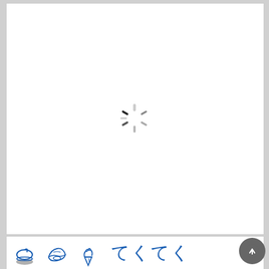[Figure (screenshot): A web page screenshot showing a large white content area with a loading spinner (circular dashed spinner in gray and black) centered in the middle. At the bottom is a thumbnail strip showing small blue line-art icons of Japanese cultural items (hat with shadow, oysters/shellfish, soft-serve ice cream) and Japanese hiragana characters (て く て く). A dark gray circular scroll-to-top button with an upward arrow is visible at the bottom right.]